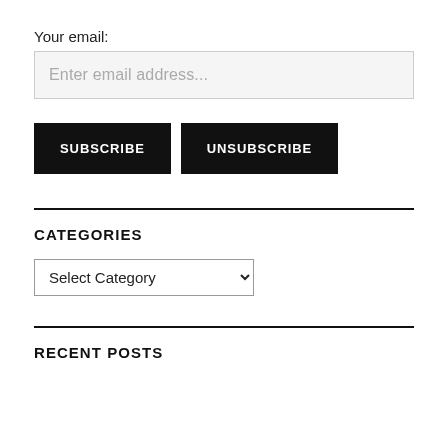Your email:
Enter email address...
SUBSCRIBE
UNSUBSCRIBE
CATEGORIES
Select Category
RECENT POSTS